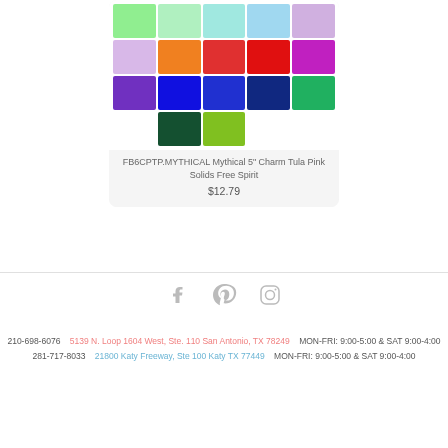[Figure (other): Color swatch grid showing multiple rows of colored fabric squares in pastel, orange, red, purple, blue, green shades]
FB6CPTP.MYTHICAL Mythical 5" Charm Tula Pink Solids Free Spirit
$12.79
[Figure (other): Social media icons: Facebook, Pinterest, Instagram]
210-698-6076    5139 N. Loop 1604 West, Ste. 110 San Antonio, TX 78249    MON-FRI: 9:00-5:00 & SAT 9:00-4:00
281-717-8033    21800 Katy Freeway, Ste 100 Katy TX 77449    MON-FRI: 9:00-5:00 & SAT 9:00-4:00